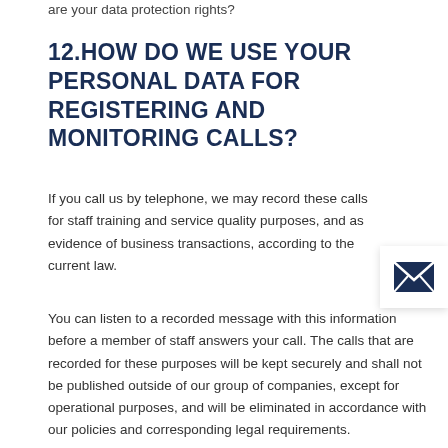are your data protection rights?
12.HOW DO WE USE YOUR PERSONAL DATA FOR REGISTERING AND MONITORING CALLS?
If you call us by telephone, we may record these calls for staff training and service quality purposes, and as evidence of business transactions, according to the current law.
[Figure (illustration): Email envelope icon in dark navy blue on a white card with shadow]
You can listen to a recorded message with this information before a member of staff answers your call. The calls that are recorded for these purposes will be kept securely and shall not be published outside of our group of companies, except for operational purposes, and will be eliminated in accordance with our policies and corresponding legal requirements.